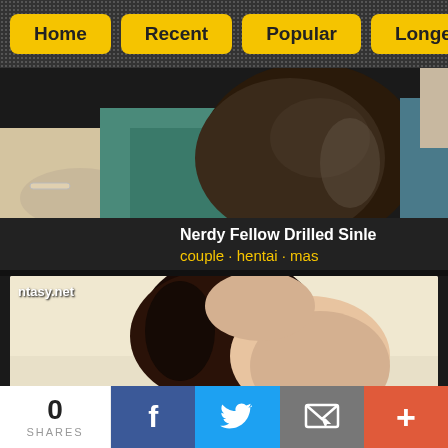Home · Recent · Popular · Longest
[Figure (screenshot): Anime/hentai video thumbnail showing animated characters, partial view]
Nerdy Fellow Drilled Sinle
couple · hentai · mas
[Figure (screenshot): Second anime/hentai video thumbnail with watermark 'ntasy.net']
0 SHARES
f (Facebook share button)
Twitter share button
Email share button
+ More share button